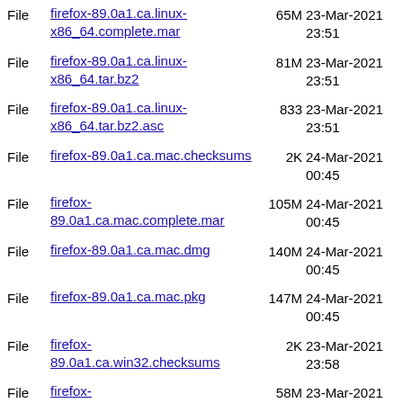File firefox-89.0a1.ca.linux-x86_64.complete.mar 65M 23-Mar-2021 23:51
File firefox-89.0a1.ca.linux-x86_64.tar.bz2 81M 23-Mar-2021 23:51
File firefox-89.0a1.ca.linux-x86_64.tar.bz2.asc 833 23-Mar-2021 23:51
File firefox-89.0a1.ca.mac.checksums 2K 24-Mar-2021 00:45
File firefox-89.0a1.ca.mac.complete.mar 105M 24-Mar-2021 00:45
File firefox-89.0a1.ca.mac.dmg 140M 24-Mar-2021 00:45
File firefox-89.0a1.ca.mac.pkg 147M 24-Mar-2021 00:45
File firefox-89.0a1.ca.win32.checksums 2K 23-Mar-2021 23:58
File firefox-89.0a1.ca.win32.complete.mar 58M 23-Mar-2021 23:57
File firefox-89.0a1.ca.win32.installer.exe 53M 23-Mar-2021 23:57
File firefox-89.0a1.ca.win32.installer.msi 54M 23-Mar-2021 23:57